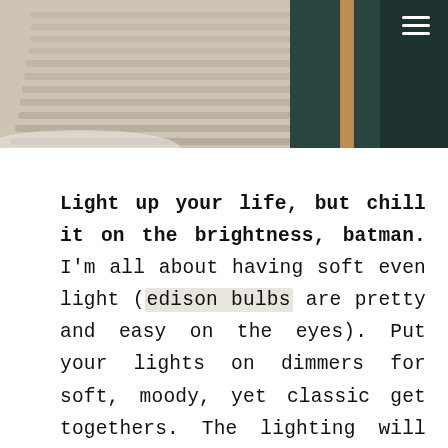[Figure (photo): Cropped photo showing a ribbed/knitted beige ottoman or pouf in the foreground and a dark teal chair with a wooden/bamboo frame in the background, on a light surface.]
Light up your life, but chill it on the brightness, batman. I'm all about having soft even light (edison bulbs are pretty and easy on the eyes). Put your lights on dimmers for soft, moody, yet classic get togethers. The lighting will make everyone look 40 years younger (I'm negative 14!).